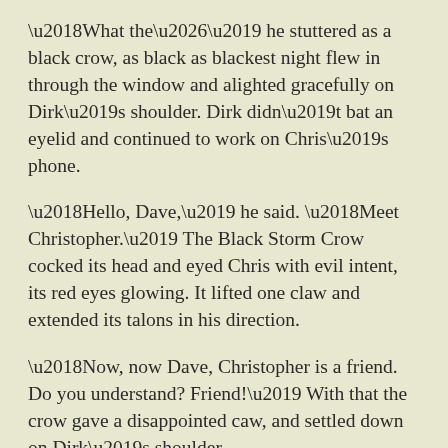‘What the…’ he stuttered as a black crow, as black as blackest night flew in through the window and alighted gracefully on Dirk’s shoulder. Dirk didn’t bat an eyelid and continued to work on Chris’s phone.
‘Hello, Dave,’ he said. ‘Meet Christopher.’ The Black Storm Crow cocked its head and eyed Chris with evil intent, its red eyes glowing. It lifted one claw and extended its talons in his direction.
‘Now, now Dave, Christopher is a friend. Do you understand? Friend!’ With that the crow gave a disappointed caw, and settled down on Dirk’s shoulder.
Chris just stared, gaping. Dirk looked over, a mischievous grin on his face. ‘He’s a Black Storm Crow. They are drawn to the Dark, to those such as I.’
Chris shook his head in amazement. Yet another